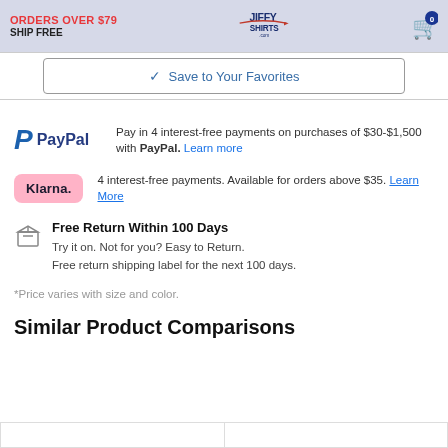ORDERS OVER $79 SHIP FREE | JiffyShirts.com | Cart: 0
Save to Your Favorites
Pay in 4 interest-free payments on purchases of $30-$1,500 with PayPal. Learn more
4 interest-free payments. Available for orders above $35. Learn More
Free Return Within 100 Days
Try it on. Not for you? Easy to Return.
Free return shipping label for the next 100 days.
*Price varies with size and color.
Similar Product Comparisons